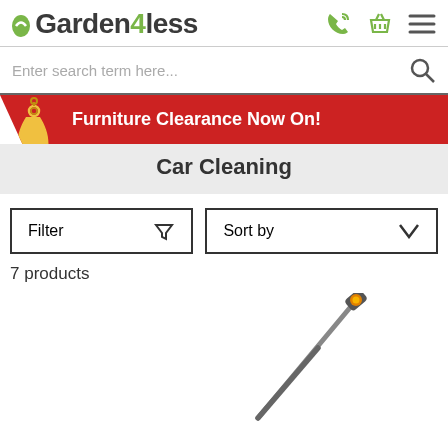Garden4less
Enter search term here...
[Figure (infographic): Red promotional banner with a price tag icon and text: Furniture Clearance Now On!]
Car Cleaning
Filter   Sort by
7 products
[Figure (photo): A garden hose lance/wand product with yellow connector at top and grey body, angled diagonally]